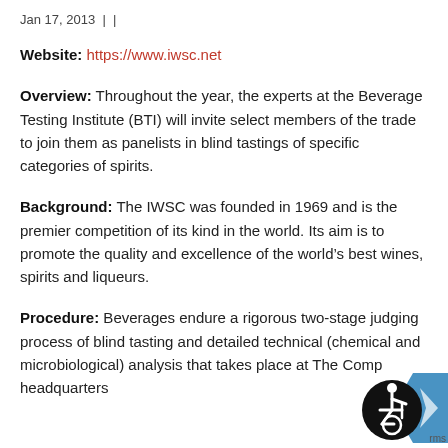Jan 17, 2013 | |
Website: https://www.iwsc.net
Overview: Throughout the year, the experts at the Beverage Testing Institute (BTI) will invite select members of the trade to join them as panelists in blind tastings of specific categories of spirits.
Background: The IWSC was founded in 1969 and is the premier competition of its kind in the world. Its aim is to promote the quality and excellence of the world’s best wines, spirits and liqueurs.
Procedure: Beverages endure a rigorous two-stage judging process of blind tasting and detailed technical (chemical and microbiological) analysis that takes place at The Comp headquarters
[Figure (logo): Accessibility icon (wheelchair symbol) with blue arrow/chevron, and 'rms' text visible at bottom right corner]